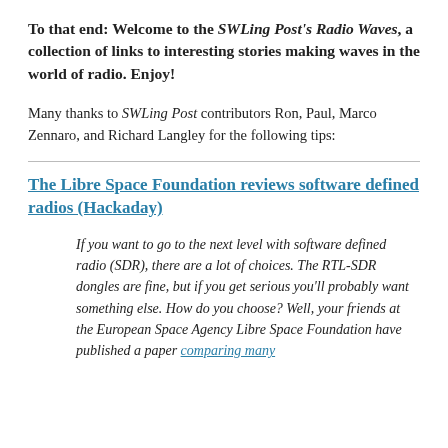To that end: Welcome to the SWLing Post's Radio Waves, a collection of links to interesting stories making waves in the world of radio. Enjoy!
Many thanks to SWLing Post contributors Ron, Paul, Marco Zennaro, and Richard Langley for the following tips:
The Libre Space Foundation reviews software defined radios (Hackaday)
If you want to go to the next level with software defined radio (SDR), there are a lot of choices. The RTL-SDR dongles are fine, but if you get serious you'll probably want something else. How do you choose? Well, your friends at the European Space Agency Libre Space Foundation have published a paper comparing many